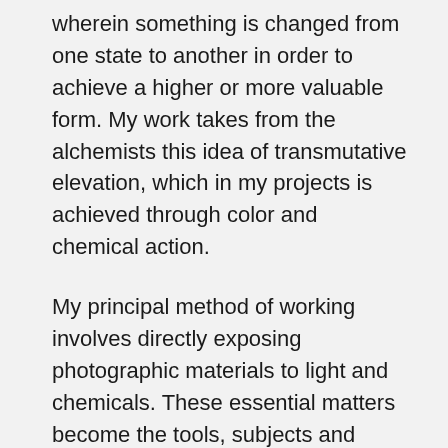wherein something is changed from one state to another in order to achieve a higher or more valuable form. My work takes from the alchemists this idea of transmutative elevation, which in my projects is achieved through color and chemical action.
My principal method of working involves directly exposing photographic materials to light and chemicals. These essential matters become the tools, subjects and direct chemical process that create the final image. I choose to return to these irreducible elements, the